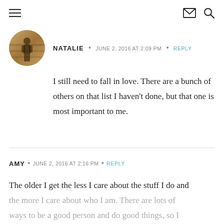≡  ✉  🔍
NATALIE • JUNE 2, 2016 AT 2:09 PM • REPLY
I still need to fall in love. There are a bunch of others on that list I haven't done, but that one is most important to me.
AMY • JUNE 2, 2016 AT 2:16 PM • REPLY
The older I get the less I care about the stuff I do and the more I care about who I am. There are lots of ways to be a good person and do good things, so I